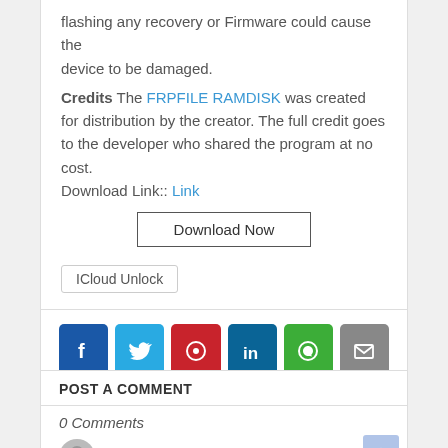flashing any recovery or Firmware could cause the device to be damaged. Credits The FRPFILE RAMDISK was created for distribution by the creator. The full credit goes to the developer who shared the program at no cost. Download Link:: Link
[Figure (other): Download Now button]
ICloud Unlock
[Figure (infographic): Social share buttons: Facebook, Twitter, Pinterest, LinkedIn, WhatsApp, Email]
POST A COMMENT
0 Comments
Enter comment